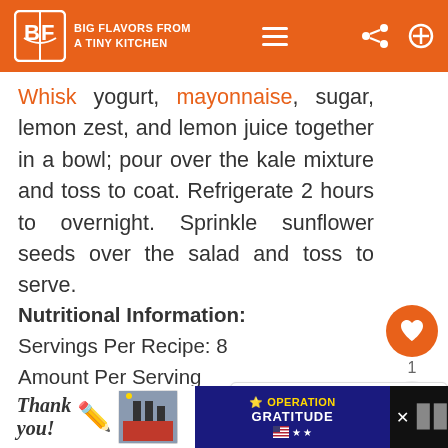BIG FLAVORS FROM A TINY KITCHEN
Whisk yogurt, mayonnaise, sugar, lemon zest, and lemon juice together in a bowl; pour over the kale mixture and toss to coat. Refrigerate 2 hours to overnight. Sprinkle sunflower seeds over the salad and toss to serve.
Nutritional Information:
Servings Per Recipe: 8
Amount Per Serving
Calories: 96
Sodium: 65.2mg
Carbohydrates: 10.7g
Protein: 2.3g
[Figure (other): What's Next thumbnail - Massaged Kale Salad]
[Figure (other): Advertisement banner - Operation Gratitude Thank You]